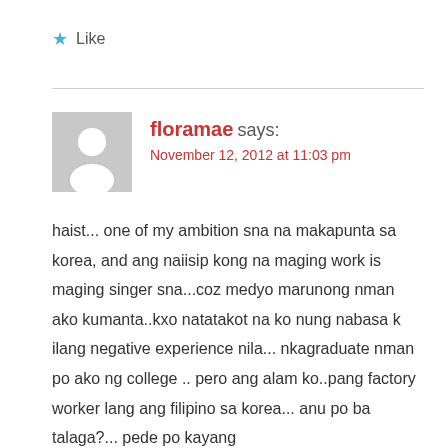★ Like
floramae says:
November 12, 2012 at 11:03 pm
haist... one of my ambition sna na makapunta sa korea, and ang naiisip kong na maging work is maging singer sna...coz medyo marunong nman ako kumanta..kxo natatakot na ko nung nabasa k ilang negative experience nila... nkagraduate nman po ako ng college .. pero ang alam ko..pang factory worker lang ang filipino sa korea... anu po ba talaga?... pede po kayang